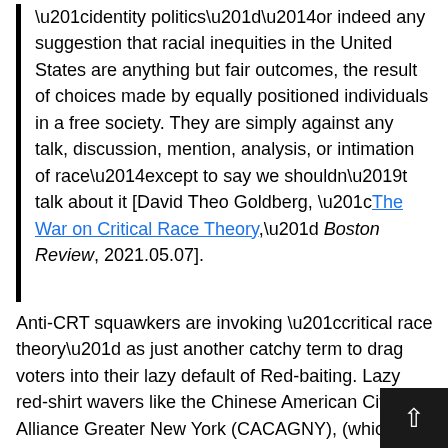“identity politics”—or indeed any suggestion that racial inequities in the United States are anything but fair outcomes, the result of choices made by equally positioned individuals in a free society. They are simply against any talk, discussion, mention, analysis, or intimation of race—except to say we shouldn’t talk about it [David Theo Goldberg, “The War on Critical Race Theory,” Boston Review, 2021.05.07].
Anti-CRT squawkers are invoking “critical race theory” as just another catchy term to drag voters into their lazy default of Red-baiting. Lazy red-shirt wavers like the Chinese American Citizens Alliance Greater New York (CACAGNY), (which, explains Goldberg, “filed an amicus brief in the failed Supreme Court case challenging what the group characterized as discrimination by Harvard University against Asian American applicants,” and pages of whose material